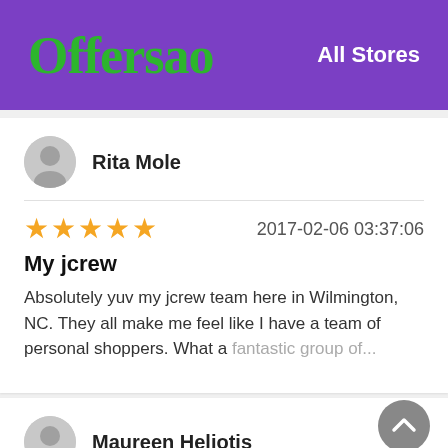Offersao — All Stores
Rita Mole
★★★★★  2017-02-06 03:37:06
My jcrew
Absolutely yuv my jcrew team here in Wilmington, NC. They all make me feel like I have a team of personal shoppers. What a fantastic group of...
Maureen Heliotis
★★★★★  2018-02-16 21:57:33